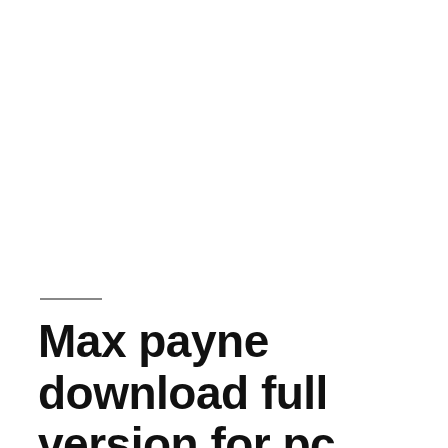Max payne download full version for pc windows 7 free –